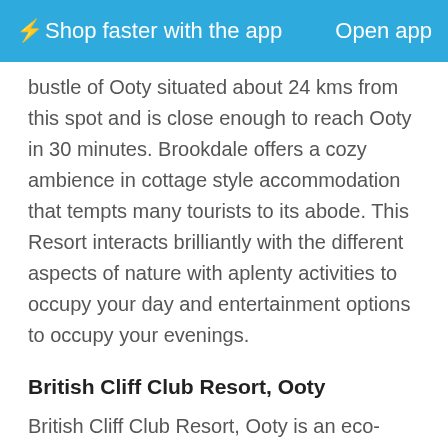⚡Shop faster with the app   Open app
bustle of Ooty situated about 24 kms from this spot and is close enough to reach Ooty in 30 minutes. Brookdale offers a cozy ambience in cottage style accommodation that tempts many tourists to its abode. This Resort interacts brilliantly with the different aspects of nature with aplenty activities to occupy your day and entertainment options to occupy your evenings.
British Cliff Club Resort, Ooty
British Cliff Club Resort, Ooty is an eco-friendly Resort situated on a mountain cliff situated about 1.5 kilometers above the Ooty Race course. It spans over an area of 3.5 acres offering splendid views of the serene and peaceful surroundings of the misty Blue Nilgiri Hills. A trip on a jeep safari to this Resort is